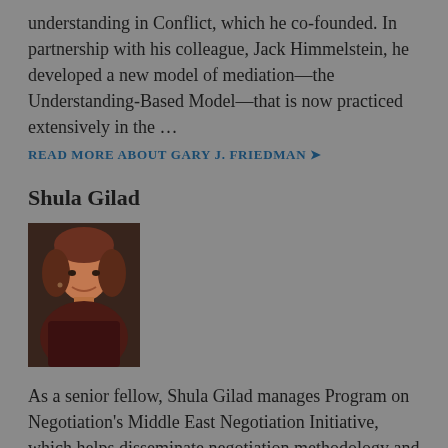understanding in Conflict, which he co-founded. In partnership with his colleague, Jack Himmelstein, he developed a new model of mediation—the Understanding-Based Model—that is now practiced extensively in the … READ MORE ABOUT GARY J. FRIEDMAN ❯
Shula Gilad
[Figure (photo): Portrait photo of Shula Gilad, a woman with short reddish-brown hair, smiling, wearing a dark top]
As a senior fellow, Shula Gilad manages Program on Negotiation's Middle East Negotiation Initiative, which helps disseminate negotiation methodology and techniques that can help solve this region's most difficult challenges. Previously, she was a senior